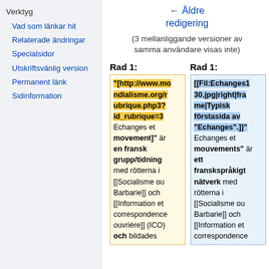Verktyg
Vad som länkar hit
Relaterade ändringar
Specialsidor
Utskriftsvänlig version
Permanent länk
Sidinformation
← Äldre redigering
(3 mellanliggande versioner av samma användare visas inte)
Rad 1:	Rad 1:
"[http://www.mondialisme.org/rubrique.php3?id_rubrique=3 Echanges et movement]" är en fransk grupp/tidning med rötterna i [[Socialisme ou Barbarie]] och [[Information et correspondence ouvrière]] (ICO) och bildades
[[Fil:Echanges130.jpg|right|frame|Typisk förstasida av "Echanges".]] Echanges et mouvements" är ett franskspråkigt nätverk med rötterna i [[Socialisme ou Barbarie]] och [[Information et correspondence